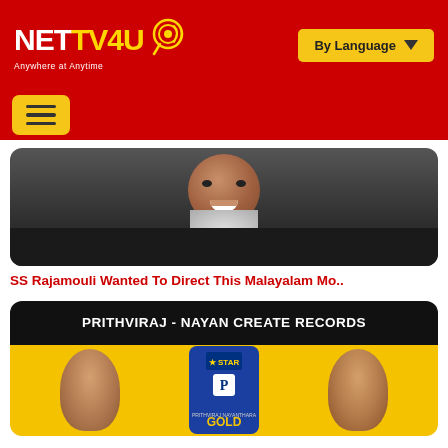NETTV4U - Anywhere at Anytime | By Language
[Figure (screenshot): Navigation menu with hamburger icon on red background]
[Figure (photo): Photo of SS Rajamouli smiling, bearded man in dark clothing]
SS Rajamouli Wanted To Direct This Malayalam Mo..
[Figure (photo): Prithviraj - Nayan Create Records movie poster with yellow background and blue card showing Gold movie branding]